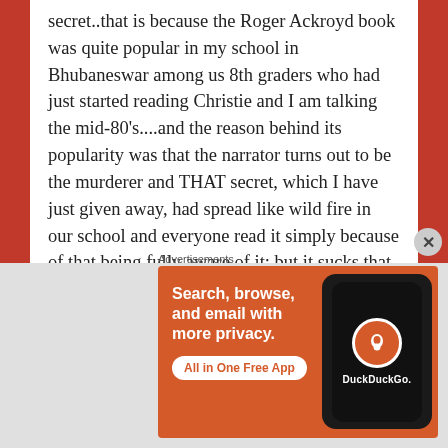secret..that is because the Roger Ackroyd book was quite popular in my school in Bhubaneswar among us 8th graders who had just started reading Christie and I am talking the mid-80's....and the reason behind its popularity was that the narrator turns out to be the murderer and THAT secret, which I have just given away, had spread like wild fire in our school and everyone read it simply because of that being fully aware of it; but it sucks that a
Advertisements
[Figure (other): DuckDuckGo advertisement banner: 'Search, browse, and email with more privacy. All in One Free App' with a smartphone showing the DuckDuckGo logo]